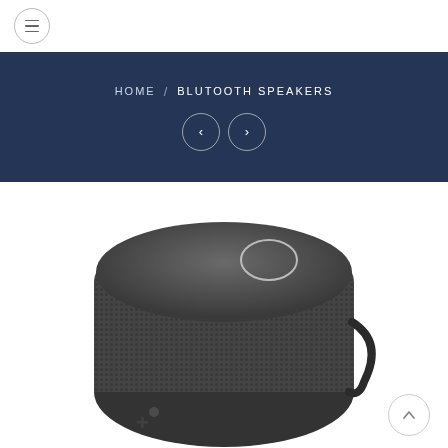[Figure (screenshot): Hamburger menu icon — three horizontal lines inside a circle outline, top-left navigation]
HOME / BLUTOOTH SPEAKERS
[Figure (illustration): Two circular navigation arrow buttons (left and right chevrons) inside the dark blue banner]
[Figure (photo): Close-up top-down view of a dark gray cylindrical Bluetooth speaker with fabric mesh body, rounded top cap with a circular button, and a carry strap on the side]
[Figure (illustration): Scroll-to-top button: circle with upward chevron, bottom-right corner]